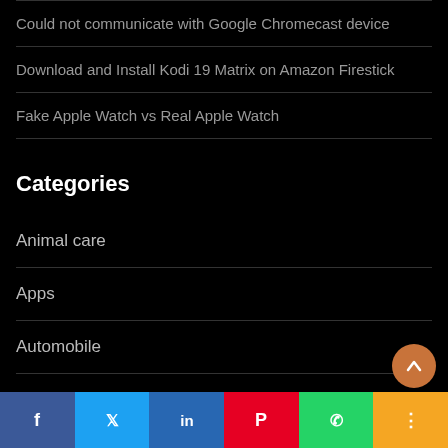Could not communicate with Google Chromecast device
Download and Install Kodi 19 Matrix on Amazon Firestick
Fake Apple Watch vs Real Apple Watch
Categories
Animal care
Apps
Automobile
Business and Finance
Decor